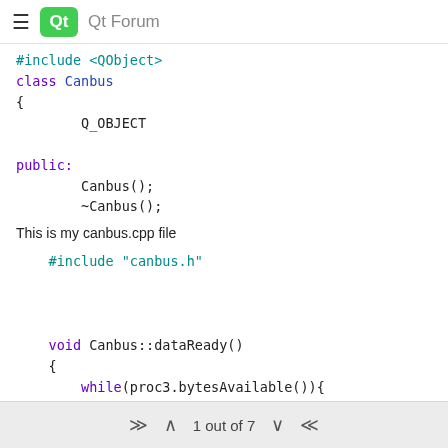Qt Forum
#include <QObject>
class Canbus
{
        Q_OBJECT

public:
        Canbus();
        ~Canbus();
This is my canbus.cpp file
#include "canbus.h"


void Canbus::dataReady()
{
        while(proc3.bytesAvailable()){

                QString in = proc3.readLine();
                QString out;
1 out of 7